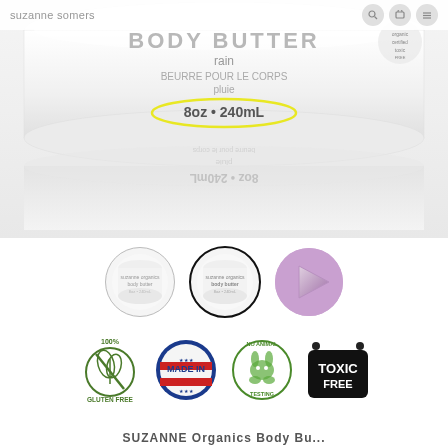suzanne somers
[Figure (photo): Suzanne Organics Body Butter Rain product jar, white round container with label text 'BODY BUTTER rain BEURRE POUR LE CORPS pluie 8oz • 240mL', shown both upright and reflected/upside-down below]
[Figure (photo): Three circular thumbnails: first shows body butter jar (unselected), second shows body butter jar (selected with black border), third is a pink/mauve play button circle for video]
[Figure (infographic): Four product certification badges: 100% Gluten Free (green leaf icon), Made in USA (patriotic red/white/blue), No Animal Testing (green bunny), Toxic Free (black oval)]
SUZANNE Organics Body Bu...